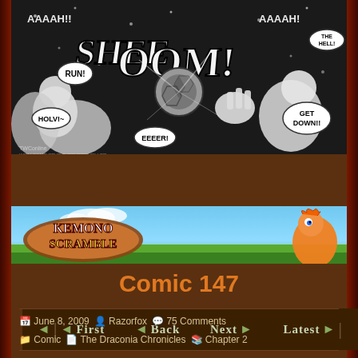[Figure (illustration): Black and white comic panel showing action scene with characters and sound effects 'SHEETOOM!', speech bubbles with 'RUN!', 'HOLV!~', 'EEEER!', 'GET DOWN!!' and 'AAAAH!!' text]
First  Back  Next  Latest
[Figure (illustration): Kemono Scramble game advertisement banner with logo and character]
Comic 147
June 8, 2009  Razorfox  75 Comments  Comic  The Draconia Chronicles  Chapter 2